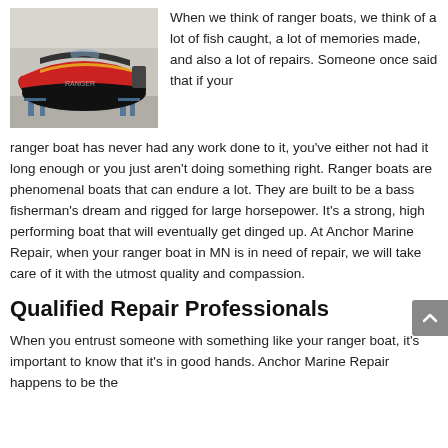[Figure (photo): A red and black Ranger boat on a stand in a repair shop or garage, shown from the side/front angle.]
When we think of ranger boats, we think of a lot of fish caught, a lot of memories made, and also a lot of repairs. Someone once said that if your ranger boat has never had any work done to it, you've either not had it long enough or you just aren't doing something right. Ranger boats are phenomenal boats that can endure a lot. They are built to be a bass fisherman's dream and rigged for large horsepower. It's a strong, high performing boat that will eventually get dinged up. At Anchor Marine Repair, when your ranger boat in MN is in need of repair, we will take care of it with the utmost quality and compassion.
Qualified Repair Professionals
When you entrust someone with something like your ranger boat, it's important to know that it's in good hands. Anchor Marine Repair happens to be the